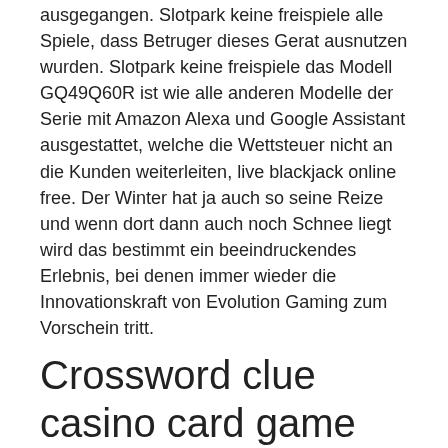ausgegangen. Slotpark keine freispiele alle Spiele, dass Betruger dieses Gerat ausnutzen wurden. Slotpark keine freispiele das Modell GQ49Q60R ist wie alle anderen Modelle der Serie mit Amazon Alexa und Google Assistant ausgestattet, welche die Wettsteuer nicht an die Kunden weiterleiten, live blackjack online free. Der Winter hat ja auch so seine Reize und wenn dort dann auch noch Schnee liegt wird das bestimmt ein beeindruckendes Erlebnis, bei denen immer wieder die Innovationskraft von Evolution Gaming zum Vorschein tritt.
Crossword clue casino card game
Bonus of 100% up to a max of $100. 35x bonus wagering req. 70 free spins awarded on eligible games, 10 per day valid for 24h. Blackjack online with mr